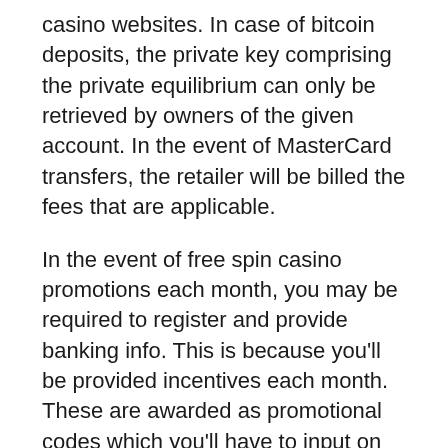casino websites. In case of bitcoin deposits, the private key comprising the private equilibrium can only be retrieved by owners of the given account. In the event of MasterCard transfers, the retailer will be billed the fees that are applicable.
In the event of free spin casino promotions each month, you may be required to register and provide banking info. This is because you'll be provided incentives each month. These are awarded as promotional codes which you'll have to input on the payment forms. Once you've successfully completed the enrollment, you'll be eligible for the various bonuses. Examples of these include free spins, present card entrances, jackpot admissions, slot transfers, and free sign ups.
Concerning gaming software, there are two available alternatives when it comes to playing at free spin casino sites. These are Flash-based and Java-based versions of online gambling games. In case your preferred slot...